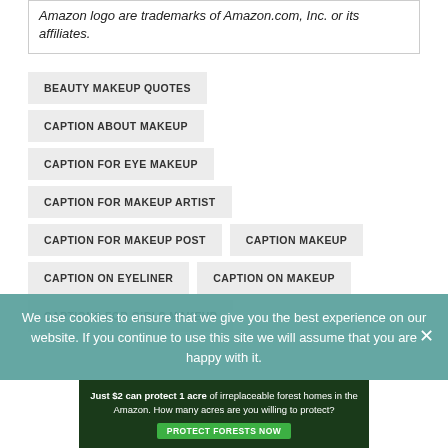Amazon logo are trademarks of Amazon.com, Inc. or its affiliates.
BEAUTY MAKEUP QUOTES
CAPTION ABOUT MAKEUP
CAPTION FOR EYE MAKEUP
CAPTION FOR MAKEUP ARTIST
CAPTION FOR MAKEUP POST
CAPTION MAKEUP
CAPTION ON EYELINER
CAPTION ON MAKEUP
CAPTIONS FOR GIRLS MAKEUP
We use cookies to ensure that we give you the best experience on our website. If you continue to use this site we will assume that you are happy with it.
[Figure (other): Advertisement banner: Just $2 can protect 1 acre of irreplaceable forest homes in the Amazon. How many acres are you willing to protect? PROTECT FORESTS NOW]